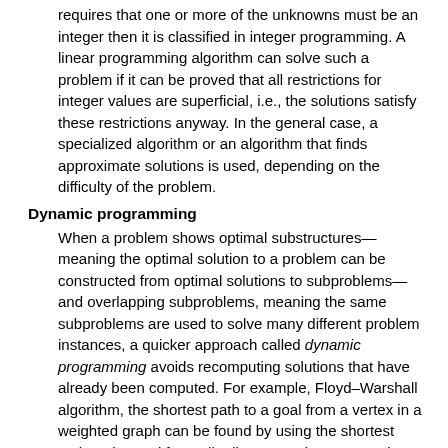requires that one or more of the unknowns must be an integer then it is classified in integer programming. A linear programming algorithm can solve such a problem if it can be proved that all restrictions for integer values are superficial, i.e., the solutions satisfy these restrictions anyway. In the general case, a specialized algorithm or an algorithm that finds approximate solutions is used, depending on the difficulty of the problem.
Dynamic programming
When a problem shows optimal substructures—meaning the optimal solution to a problem can be constructed from optimal solutions to subproblems—and overlapping subproblems, meaning the same subproblems are used to solve many different problem instances, a quicker approach called dynamic programming avoids recomputing solutions that have already been computed. For example, Floyd–Warshall algorithm, the shortest path to a goal from a vertex in a weighted graph can be found by using the shortest path to the goal from all adjacent vertices. Dynamic programming and memoization go together. The main difference between dynamic